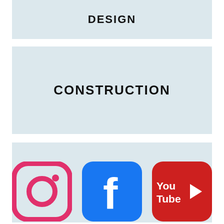DESIGN
CONSTRUCTION
TRAVEL
[Figure (logo): Instagram logo - pink/magenta rounded square icon with camera outline]
[Figure (logo): Facebook logo - blue rounded square with white f]
[Figure (logo): YouTube logo - red rounded rectangle with white play button and 'You Tube' text]